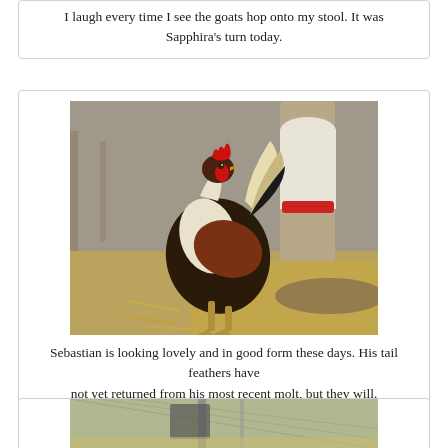I laugh every time I see the goats hop onto my stool. It was Sapphira's turn today.
[Figure (photo): A rooster (Sebastian) standing in a farmyard with hay on the ground, next to a wooden post and a red feeder. The rooster has brown, white, and black feathers.]
Sebastian is looking lovely and in good form these days. His tail feathers have not yet returned from his most recent molt, but they will.
[Figure (photo): Partial view of another farm scene, partially cut off at the bottom of the page.]